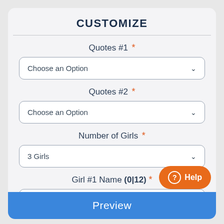CUSTOMIZE
Quotes #1 *
Choose an Option
Quotes #2 *
Choose an Option
Number of Girls *
3 Girls
Girl #1 Name (0|12) *
Example: Jessica
Preview